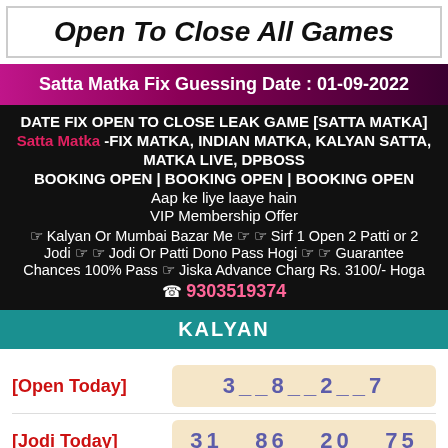Open To Close All Games
Satta Matka Fix Guessing Date : 01-09-2022
DATE FIX OPEN TO CLOSE LEAK GAME [SATTA MATKA] Satta Matka -FIX MATKA, INDIAN MATKA, KALYAN SATTA, MATKA LIVE, DPBOSS BOOKING OPEN | BOOKING OPEN | BOOKING OPEN Aap ke liye laaye hain VIP Membership Offer ☞ Kalyan Or Mumbai Bazar Me ☞ ☞ Sirf 1 Open 2 Patti or 2 Jodi ☞ ☞ Jodi Or Patti Dono Pass Hogi ☞ ☞ Guarantee Chances 100% Pass ☞ Jiska Advance Charg Rs. 3100/- Hoga ☎ 9303519374
KALYAN
[Open Today]  3__8__2__7
[Jodi Today]  31__86__20__75